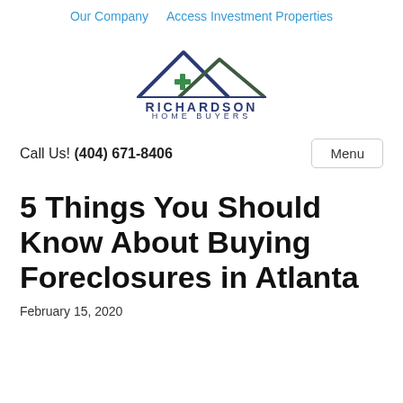Our Company   Access Investment Properties
[Figure (logo): Richardson Home Buyers logo: two mountain/roof peaks in navy and dark green with a green plus symbol, above the text RICHARDSON HOME BUYERS]
Call Us! (404) 671-8406
5 Things You Should Know About Buying Foreclosures in Atlanta
February 15, 2020